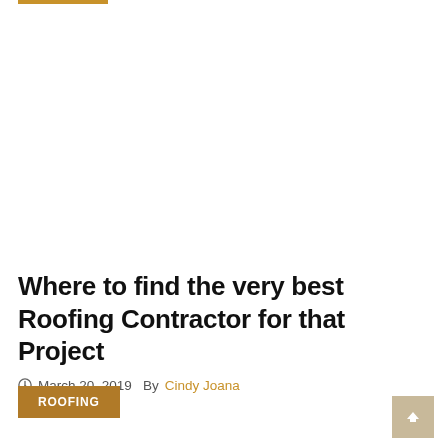Where to find the very best Roofing Contractor for that Project
March 20, 2019   By Cindy Joana
ROOFING